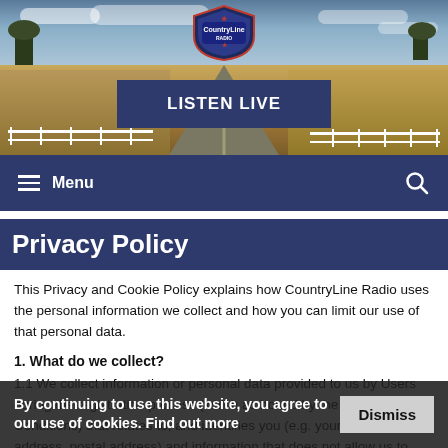[Figure (photo): Country road scene with white fences on both sides, fields, trees in background, cloudy sky. CountryLine Radio logo centered top. 'LISTEN LIVE' dark blue button centered.]
Menu
Privacy Policy
This Privacy and Cookie Policy explains how CountryLine Radio uses the personal information we collect and how you can limit our use of that personal data.
1. What do we collect?
1.1 We collect information or personal data provided to us by Users during the registration process (which as bound by the Terms and Conditions) that relates to, and identifies you (e.g. your name, address, postal address) and information that does not allow us to identify you (e.g. general
By continuing to use this website, you agree to our use of cookies. Find out more
Dismiss